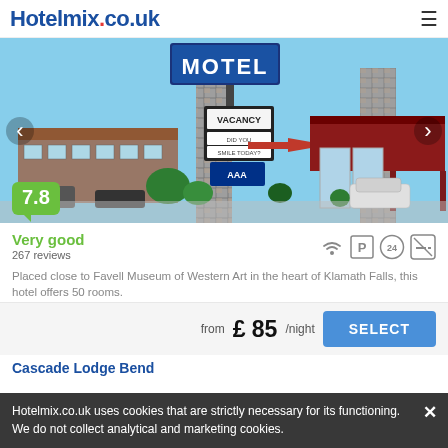Hotelmix.co.uk
[Figure (photo): Photo of a motel exterior showing a MOTEL sign, vacancy sign, stone pillars, and a red canopy entrance. Rating badge showing 7.8 in green is overlaid at bottom left.]
Very good
267 reviews
Placed close to Favell Museum of Western Art in the heart of Klamath Falls, this hotel offers 50 rooms.
from £ 85/night
SELECT
Cascade Lodge Bend
Hotelmix.co.uk uses cookies that are strictly necessary for its functioning. We do not collect analytical and marketing cookies.